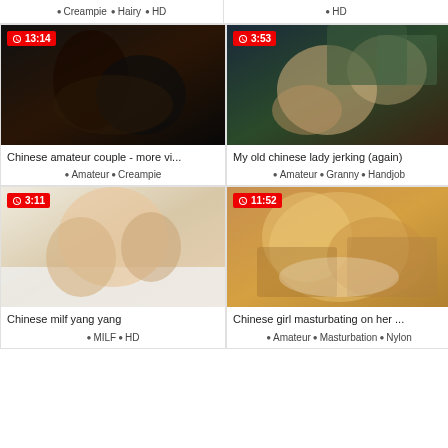Creampie · Hairy · HD
HD
[Figure (photo): Video thumbnail - Chinese amateur couple, duration 13:14]
Chinese amateur couple - more vi...
Amateur · Creampie
[Figure (photo): Video thumbnail - My old chinese lady jerking (again), duration 3:53]
My old chinese lady jerking (again)
Amateur · Granny · Handjob
[Figure (photo): Video thumbnail - Chinese milf yang yang, duration 3:11]
Chinese milf yang yang
MILF · HD
[Figure (photo): Video thumbnail - Chinese girl masturbating on her..., duration 11:52]
Chinese girl masturbating on her ...
Amateur · Masturbation · Nylon